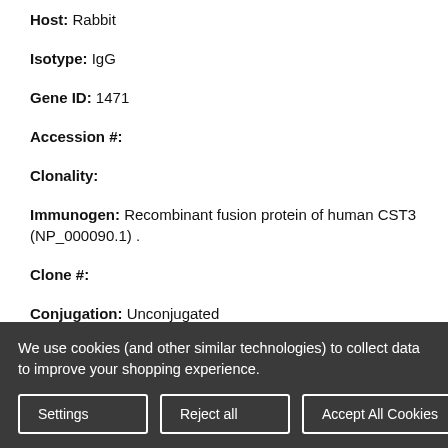Host: Rabbit
Isotype: IgG
Gene ID: 1471
Accession #:
Clonality:
Immunogen: Recombinant fusion protein of human CST3 (NP_000090.1) .
Clone #:
Conjugation: Unconjugated
We use cookies (and other similar technologies) to collect data to improve your shopping experience.
Settings | Reject all | Accept All Cookies